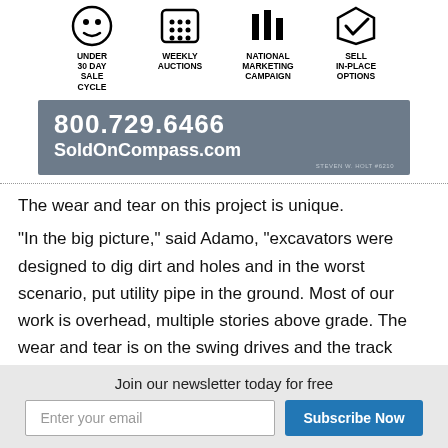[Figure (infographic): Four icons in a row: a face/emoji icon labeled UNDER 30 DAY SALE CYCLE, a grid/dots icon labeled WEEKLY AUCTIONS, a bar chart icon labeled NATIONAL MARKETING CAMPAIGN, and a checkmark/shield icon labeled SELL IN-PLACE OPTIONS]
[Figure (infographic): Gray box with phone number 800.729.6466 and URL SoldOnCompass.com, with small text STEVEN W. HOLT #6210 in bottom right]
The wear and tear on this project is unique.
“In the big picture,” said Adamo, “excavators were designed to dig dirt and holes and in the worst scenario, put utility pipe in the ground. Most of our work is overhead, multiple stories above grade. The wear and tear is on the swing drives and the track motors, because we do a lot more travelling back and
Join our newsletter today for free
Enter your email
Subscribe Now